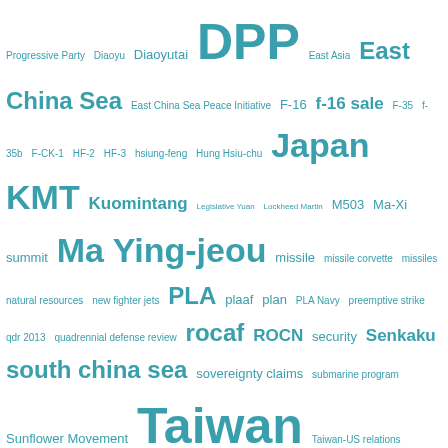[Figure (infographic): Tag cloud of topics related to Taiwan defense and politics, rendered in teal/blue text at varying sizes indicating frequency/importance. Tags include: Progressive Party, Diaoyu, Diaoyutai, DPP, East Asia, East China Sea, East China Sea Peace Initiative, F-16, f-16 sale, F-35, f-35b, F-CK-1, HF-2, HF-3, hsiung-feng, Hung Hsiu-chu, Japan, KMT, Kuomintang, Legislative Yuan, Lockheed Martin, M503, Ma-Xi summit, Ma Ying-jeou, missile, missile corvette, missiles, natural resources, new fighter jets, PLA, plaaf, plan, PLA Navy, preemptive strike, qdr 2013, quadrennial defense review, rocaf, ROCN, security, Senkaku, south china sea, sovereignty claims, submarine program, Sunflower Movement, Taiwan, Taiwan-US relations, taiwan air force, Taiwan Navy, Taiwan Strait, territorial dispute, territorial disputes, The Philippines, Tsai Ing-wen, Tuo-Jiang, upgrade, US, US-China relations, US-Taiwan relations, USA]
FOLLOW BLOG VIA EMAIL
Enter your email address to follow this blog and receive notifications of new posts by email.